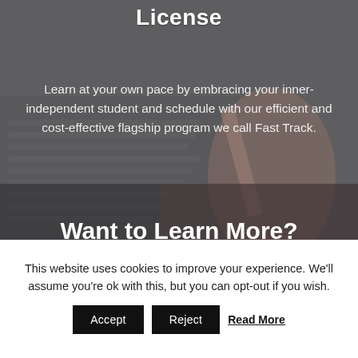License
Learn at your own pace by embracing your inner-independent student and schedule with our efficient and cost-effective flagship program we call Fast Track.
Want to Learn More?
This website uses cookies to improve your experience. We'll assume you're ok with this, but you can opt-out if you wish.
Accept   Reject   Read More